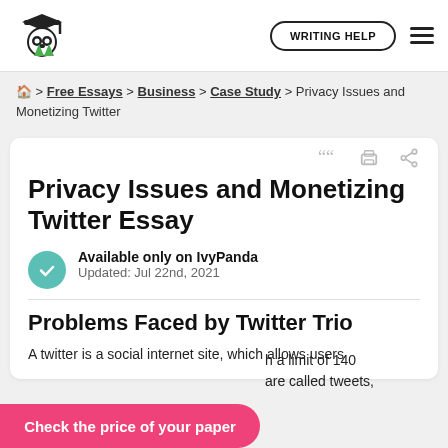WRITING HELP
🏠 > Free Essays > Business > Case Study > Privacy Issues and Monetizing Twitter
Privacy Issues and Monetizing Twitter Essay
Available only on IvyPanda
Updated: Jul 22nd, 2021
Problems Faced by Twitter Trio
A twitter is a social internet site, which allows users [with a limit of 140 [are called tweets,
Check the price of your paper